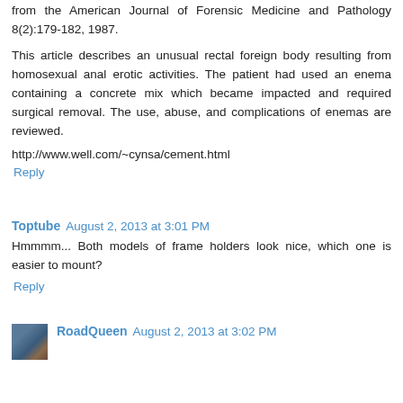from the American Journal of Forensic Medicine and Pathology 8(2):179-182, 1987.
This article describes an unusual rectal foreign body resulting from homosexual anal erotic activities. The patient had used an enema containing a concrete mix which became impacted and required surgical removal. The use, abuse, and complications of enemas are reviewed.
http://www.well.com/~cynsa/cement.html
Reply
Toptube  August 2, 2013 at 3:01 PM
Hmmmm... Both models of frame holders look nice, which one is easier to mount?
Reply
RoadQueen  August 2, 2013 at 3:02 PM